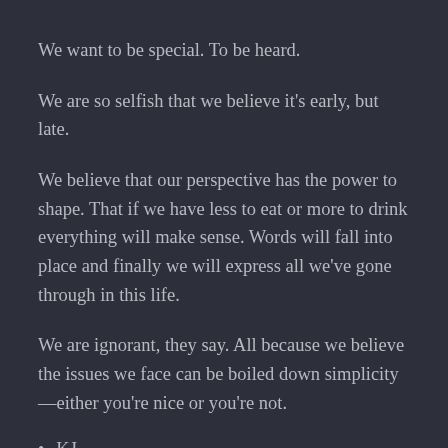We want to be special. To be heard.
We are so selfish that we believe it's early, but late.
We believe that our perspective has the power to shape. That if we have less to eat or more to drink everything will make sense. Words will fall into place and finally we will express all we've gone through in this life.
We are ignorant, they say. All because we believe the issues we face can be boiled down simplicity —either you're nice or you're not.
KJ